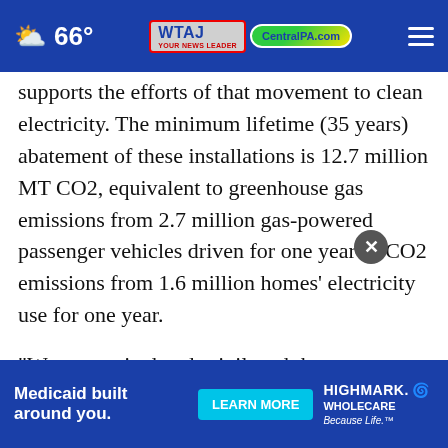66° | WTAJ | CentralPA.com
supports the efforts of that movement to clean electricity. The minimum lifetime (35 years) abatement of these installations is 12.7 million MT CO2, equivalent to greenhouse gas emissions from 2.7 million gas-powered passenger vehicles driven for one year or CO2 emissions from 1.6 million homes’ electricity use for one year.
“We are excited and privileged that our partners entru... ate such a meaningful investment in performing